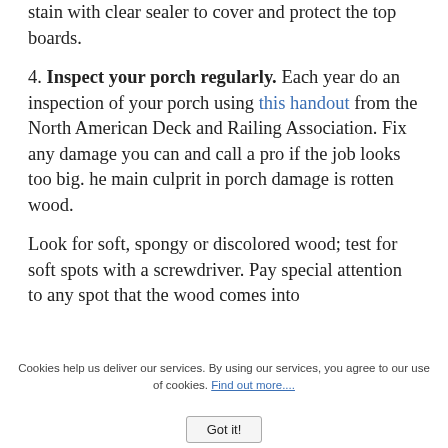stain with clear sealer to cover and protect the top boards.
4. Inspect your porch regularly. Each year do an inspection of your porch using this handout from the North American Deck and Railing Association. Fix any damage you can and call a pro if the job looks too big. he main culprit in porch damage is rotten wood.
Look for soft, spongy or discolored wood; test for soft spots with a screwdriver. Pay special attention to any spot that the wood comes into
Cookies help us deliver our services. By using our services, you agree to our use of cookies. Find out more....
Got it!